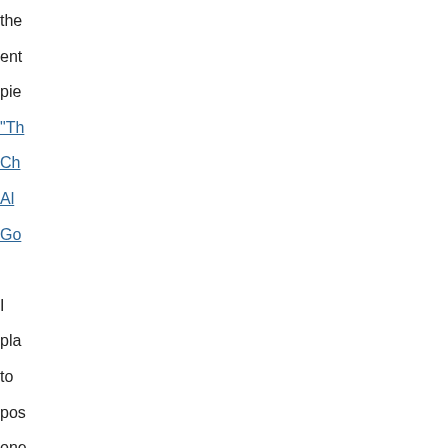the entire piece "The Challenge of AI Governance" I placed to post one more time about the Cambridge Consortium, sometime along the lines of